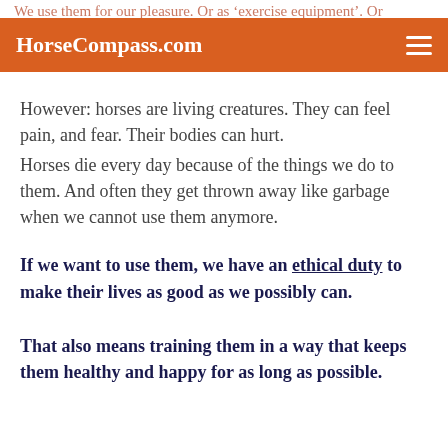We use them for our pleasure. Or as 'exercise equipment'. Or as ... money on.
HorseCompass.com
However: horses are living creatures. They can feel pain, and fear. Their bodies can hurt.
Horses die every day because of the things we do to them.
And often they get thrown away like garbage when we cannot use them anymore.
If we want to use them, we have an ethical duty to make their lives as good as we possibly can.
That also means training them in a way that keeps them healthy and happy for as long as possible.